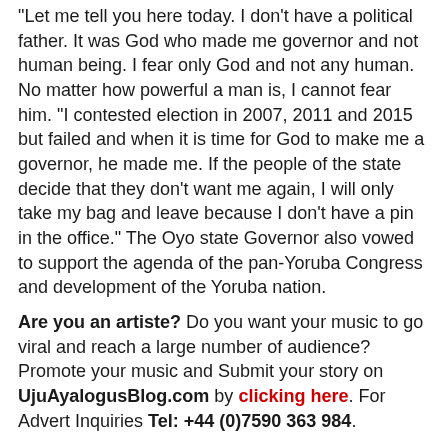“Let me tell you here today. I don’t have a political father. It was God who made me governor and not human being. I fear only God and not any human. No matter how powerful a man is, I cannot fear him. “I contested election in 2007, 2011 and 2015 but failed and when it is time for God to make me a governor, he made me. If the people of the state decide that they don’t want me again, I will only take my bag and leave because I don’t have a pin in the office.” The Oyo state Governor also vowed to support the agenda of the pan-Yoruba Congress and development of the Yoruba nation.
Are you an artiste? Do you want your music to go viral and reach a large number of audience? Promote your music and Submit your story on UjuAyalogusBlog.com by clicking here. For Advert Inquiries Tel: +44 (0)7590 363 984.